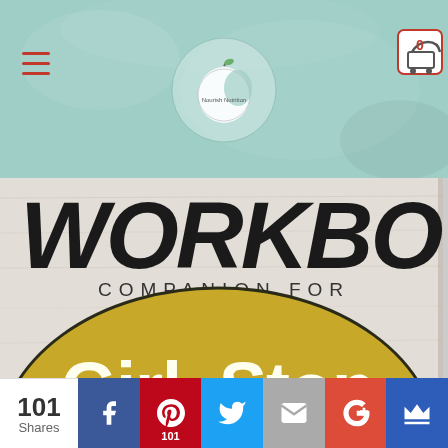[Figure (logo): Website header with teal/mint background, hamburger menu icon in red on left, circular apple/fruit logo in center, shopping cart icon with 0 on right]
[Figure (illustration): Book cover showing 'WORKBOOK COMPANION FOR' text at top, and large gold/yellow oval with white text reading 'Girl, Stop Apologizing']
[Figure (infographic): Social sharing bar at bottom with 101 Shares count, Facebook (f), Pinterest (p/101), Twitter bird, Email envelope, Google Plus (G+), and crown icon buttons]